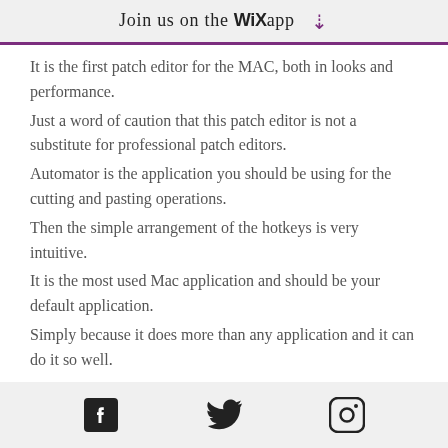Join us on the WiX app ⬇
It is the first patch editor for the MAC, both in looks and performance.
Just a word of caution that this patch editor is not a substitute for professional patch editors.
Automator is the application you should be using for the cutting and pasting operations.
Then the simple arrangement of the hotkeys is very intuitive.
It is the most used Mac application and should be your default application.
Simply because it does more than any application and it can do it so well.
I am sure most people will use it for the
Facebook Twitter Instagram social icons